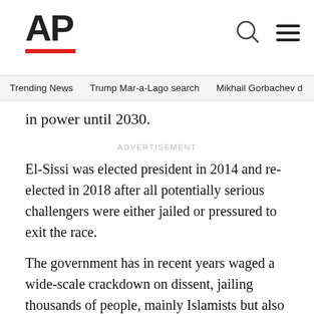AP
Trending News  Trump Mar-a-Lago search  Mikhail Gorbachev d
in power until 2030.
ADVERTISEMENT
El-Sissi was elected president in 2014 and re-elected in 2018 after all potentially serious challengers were either jailed or pressured to exit the race.
The government has in recent years waged a wide-scale crackdown on dissent, jailing thousands of people, mainly Islamists but also secular activists involved in the